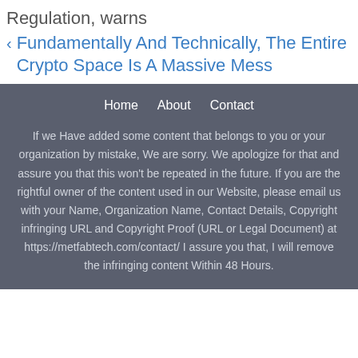Regulation, warns
< Fundamentally And Technically, The Entire Crypto Space Is A Massive Mess
Home   About   Contact
If we Have added some content that belongs to you or your organization by mistake, We are sorry. We apologize for that and assure you that this won't be repeated in the future. If you are the rightful owner of the content used in our Website, please email us with your Name, Organization Name, Contact Details, Copyright infringing URL and Copyright Proof (URL or Legal Document) at https://metfabtech.com/contact/ I assure you that, I will remove the infringing content Within 48 Hours.